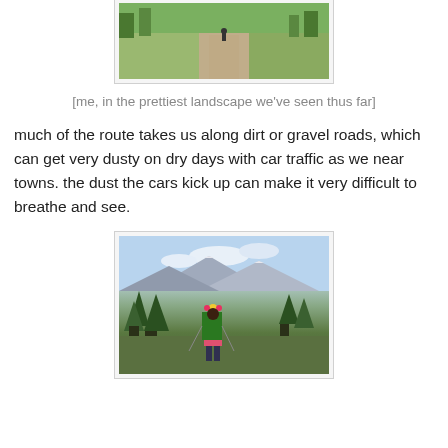[Figure (photo): A cyclist riding along a wide gravel/dirt road through a green, scenic landscape with trees and mountains in the background, viewed from behind.]
[me, in the prettiest landscape we've seen thus far]
much of the route takes us along dirt or gravel roads, which can get very dusty on dry days with car traffic as we near towns. the dust the cars kick up can make it very difficult to breathe and see.
[Figure (photo): A hiker with a large backpack and flowers on their head walking through a mountainous alpine landscape with evergreen trees and snow-capped peaks in the background under a partly cloudy sky.]